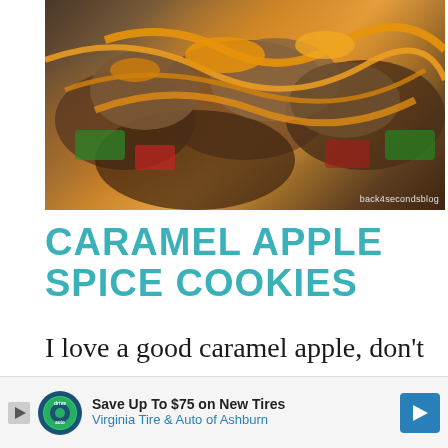[Figure (photo): Close-up photo of caramel apple spice cookies with caramel drizzle, with watermark text 'back4secondsblog']
CARAMEL APPLE SPICE COOKIES
I love a good caramel apple, don't you? When I found these caramel apple Milky Ways, I just had
[Figure (infographic): Advertisement banner: Save Up To $75 on New Tires - Virginia Tire & Auto of Ashburn]